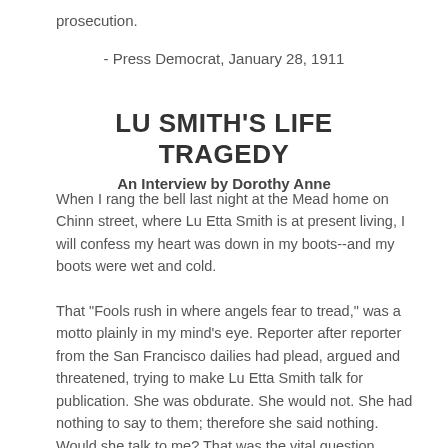prosecution.
- Press Democrat, January 28, 1911
LU SMITH'S LIFE TRAGEDY
An Interview by Dorothy Anne
When I rang the bell last night at the Mead home on Chinn street, where Lu Etta Smith is at present living, I will confess my heart was down in my boots--and my boots were wet and cold.
That "Fools rush in where angels fear to tread," was a motto plainly in my mind's eye. Reporter after reporter from the San Francisco dailies had plead, argued and threatened, trying to make Lu Etta Smith talk for publication. She was obdurate. She would not. She had nothing to say to them; therefore she said nothing. Would she talk to me? That was the vital question.